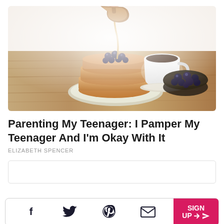[Figure (photo): Pancakes with blueberries on a plate being drizzled with syrup from a wooden spoon, with a coffee cup and bowl of blueberries in the background on a wooden table]
Parenting My Teenager: I Pamper My Teenager And I'm Okay With It
ELIZABETH SPENCER